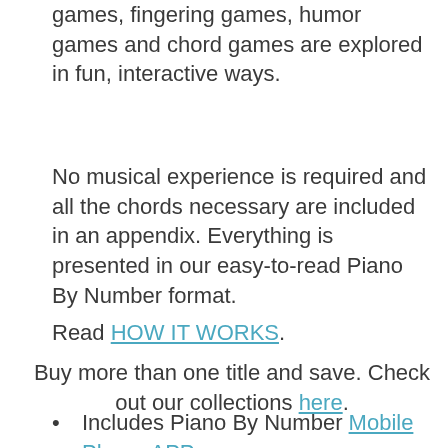games, fingering games, humor games and chord games are explored in fun, interactive ways.
No musical experience is required and all the chords necessary are included in an appendix. Everything is presented in our easy-to-read Piano By Number format.
Read HOW IT WORKS.
Buy more than one title and save. Check out our collections here.
Includes Piano By Number Mobile Phone APP
Free USA Shipping